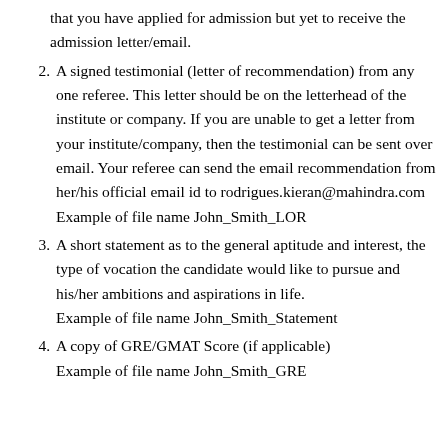that you have applied for admission but yet to receive the admission letter/email.
2. A signed testimonial (letter of recommendation) from any one referee. This letter should be on the letterhead of the institute or company. If you are unable to get a letter from your institute/company, then the testimonial can be sent over email. Your referee can send the email recommendation from her/his official email id to rodrigues.kieran@mahindra.com Example of file name John_Smith_LOR
3. A short statement as to the general aptitude and interest, the type of vocation the candidate would like to pursue and his/her ambitions and aspirations in life. Example of file name John_Smith_Statement
4. A copy of GRE/GMAT Score (if applicable) Example of file name John_Smith_GRE